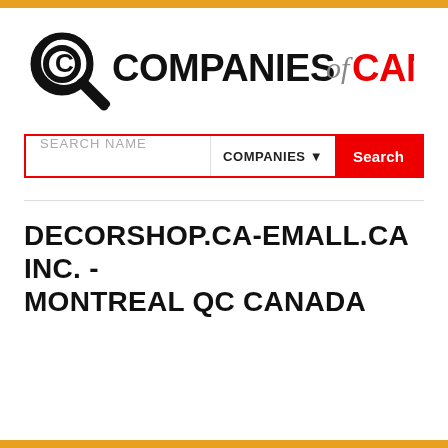[Figure (logo): Companies of Canada logo — magnifying glass icon with 'COMPANIES of CANADA' text, 'COMPANIES' in bold black, 'of' in italic gray script, 'CANADA' in bold red]
SEARCH NAME   COMPANIES ▼   Search
DECORSHOP.CA-EMALL.CA INC. - MONTREAL QC CANADA